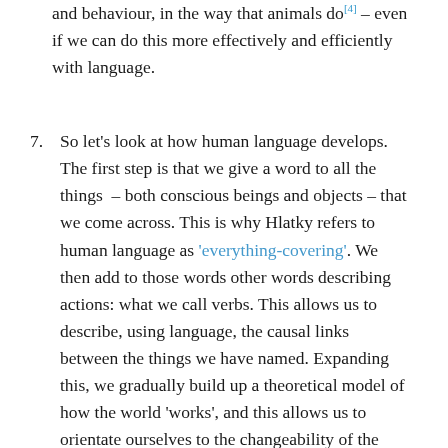and behaviour, in the way that animals do[4] – even if we can do this more effectively and efficiently with language.
7. So let's look at how human language develops. The first step is that we give a word to all the things – both conscious beings and objects – that we come across. This is why Hlatky refers to human language as 'everything-covering'. We then add to those words other words describing actions: what we call verbs. This allows us to describe, using language, the causal links between the things we have named. Expanding this, we gradually build up a theoretical model of how the world 'works', and this allows us to orientate ourselves to the changeability of the world. If our model is